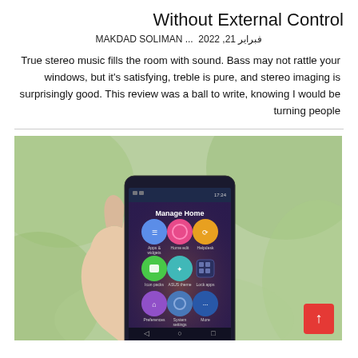Without External Control
MAKDAD SOLIMAN ... فبراير 21, 2022
True stereo music fills the room with sound. Bass may not rattle your windows, but it's satisfying, treble is pure, and stereo imaging is surprisingly good. This review was a ball to write, knowing I would be turning people
[Figure (photo): A hand holding an ASUS smartphone displaying a 'Manage Home' app with colorful circular icons for Apps & widgets, Home edit, Helpdesk, Icon packs, ASUS theme, Lock apps, Preferences, System settings, and More. Background is blurred green foliage.]